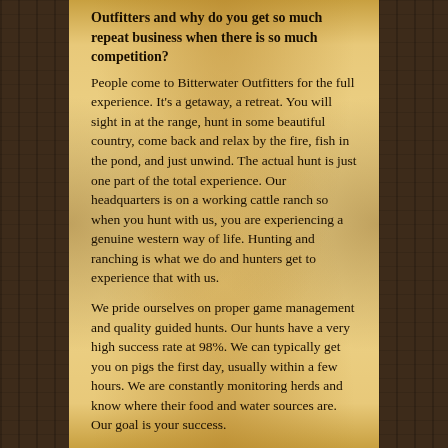Outfitters and why do you get so much repeat business when there is so much competition?
People come to Bitterwater Outfitters for the full experience. It's a getaway, a retreat. You will sight in at the range, hunt in some beautiful country, come back and relax by the fire, fish in the pond, and just unwind. The actual hunt is just one part of the total experience. Our headquarters is on a working cattle ranch so when you hunt with us, you are experiencing a genuine western way of life. Hunting and ranching is what we do and hunters get to experience that with us.
We pride ourselves on proper game management and quality guided hunts. Our hunts have a very high success rate at 98%. We can typically get you on pigs the first day, usually within a few hours. We are constantly monitoring herds and know where their food and water sources are. Our goal is your success.
For our operation we have a cabin that sleeps 4 guests, a pond, showers, restrooms, picnic area, BBQ pit/eating area, fire pit, and a huge walk in cooler to store your meat. We also have trailer hookups and plenty of tent sites for guests to use